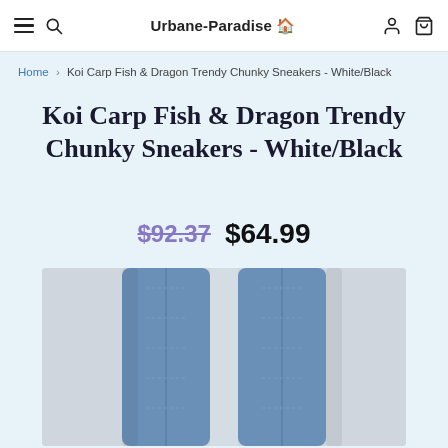Urbane-Paradise
Home > Koi Carp Fish & Dragon Trendy Chunky Sneakers - White/Black
Koi Carp Fish & Dragon Trendy Chunky Sneakers - White/Black
$92.37  $64.99
[Figure (photo): Product photo showing legs wearing blue denim jeans, cropped at mid-thigh level, against a white background.]